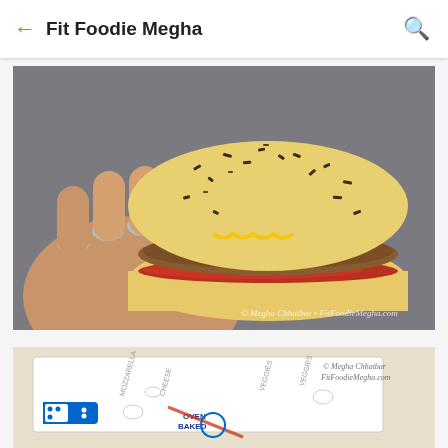Fit Foodie Megha
[Figure (photo): Hand holding a herbed/seeded burger bun sandwich with meat patty, tomato sauce, and green peppers. Watermark reads: © Megha Chhatbar • FitFoodieMegha.com]
[Figure (photo): Domino's pizza box with illustrated packaging design showing mozzarella cheese and veggie icons, with watermark: © Megha Chhatbar FitFoodieMegha.com]